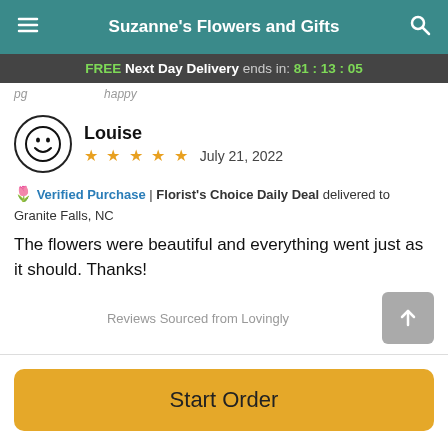Suzanne's Flowers and Gifts
FREE Next Day Delivery ends in: 81:13:05
Louise — ★★★★★ — July 21, 2022
🌷 Verified Purchase | Florist's Choice Daily Deal delivered to Granite Falls, NC
The flowers were beautiful and everything went just as it should. Thanks!
Reviews Sourced from Lovingly
Start Order